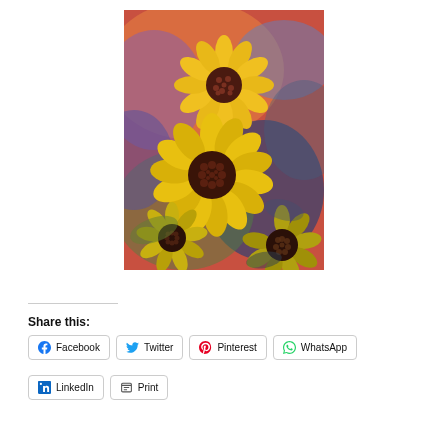[Figure (illustration): A colorful painting of sunflowers with yellow petals and dark centers against a vivid multicolored background of reds, blues, greens, and purples.]
Share this:
Facebook
Twitter
Pinterest
WhatsApp
LinkedIn
Print